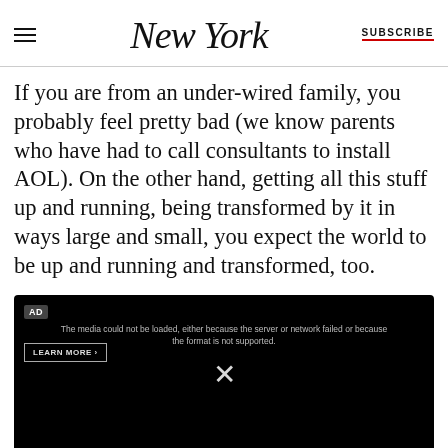New York | SUBSCRIBE
If you are from an under-wired family, you probably feel pretty bad (we know parents who have had to call consultants to install AOL). On the other hand, getting all this stuff up and running, being transformed by it in ways large and small, you expect the world to be up and running and transformed, too.
[Figure (other): Black video player embed showing an AD badge, error message 'The media could not be loaded, either because the server or network failed or because the format is not supported.', a LEARN MORE button, and a close X icon in the center.]